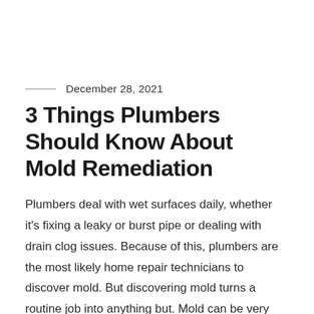December 28, 2021
3 Things Plumbers Should Know About Mold Remediation
Plumbers deal with wet surfaces daily, whether it's fixing a leaky or burst pipe or dealing with drain clog issues. Because of this, plumbers are the most likely home repair technicians to discover mold. But discovering mold turns a routine job into anything but. Mold can be very hazardous, and it's important for anyone, be they a homeowner or home fixer, to know the proper information about mold